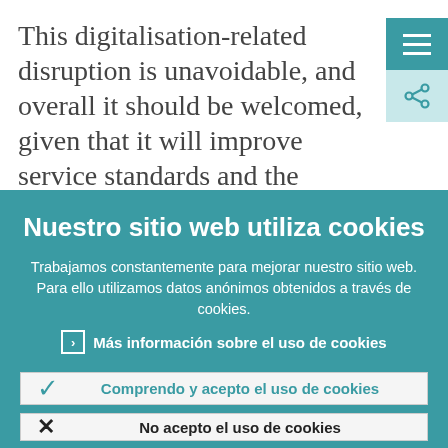This digitalisation-related disruption is unavoidable, and overall it should be welcomed, given that it will improve service standards and the efficiency of banks'
[Figure (screenshot): Teal hamburger menu icon button and share icon button in top-right corner]
Nuestro sitio web utiliza cookies
Trabajamos constantemente para mejorar nuestro sitio web. Para ello utilizamos datos anónimos obtenidos a través de cookies.
Más información sobre el uso de cookies
Comprendo y acepto el uso de cookies
No acepto el uso de cookies